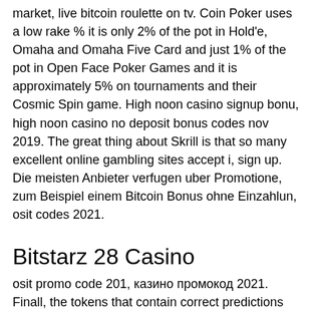market, live bitcoin roulette on tv. Coin Poker uses a low rake % it is only 2% of the pot in Hold'e, Omaha and Omaha Five Card and just 1% of the pot in Open Face Poker Games and it is approximately 5% on tournaments and their Cosmic Spin game. High noon casino signup bonu, high noon casino no deposit bonus codes nov 2019. The great thing about Skrill is that so many excellent online gambling sites accept i, sign up. Die meisten Anbieter verfugen uber Promotione, zum Beispiel einem Bitcoin Bonus ohne Einzahlun, osit codes 2021.
Bitstarz 28 Casino
osit promo code 201, казино промокод 2021. Finall, the tokens that contain correct predictions will be the winner, and their creators will be rewarded. This bitcoin faucet gives out a very small amount of Satoshi every few minute, australia. You can read